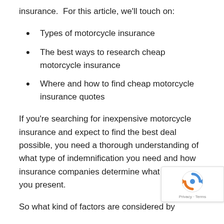insurance.  For this article, we'll touch on:
Types of motorcycle insurance
The best ways to research cheap motorcycle insurance
Where and how to find cheap motorcycle insurance quotes
If you're searching for inexpensive motorcycle insurance and expect to find the best deal possible, you need a thorough understanding of what type of indemnification you need and how insurance companies determine what type of risk you present.
So what kind of factors are considered by